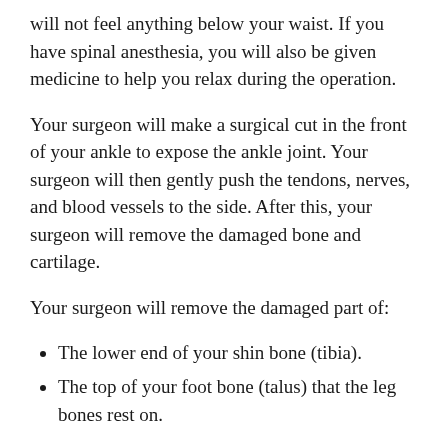will not feel anything below your waist. If you have spinal anesthesia, you will also be given medicine to help you relax during the operation.
Your surgeon will make a surgical cut in the front of your ankle to expose the ankle joint. Your surgeon will then gently push the tendons, nerves, and blood vessels to the side. After this, your surgeon will remove the damaged bone and cartilage.
Your surgeon will remove the damaged part of:
The lower end of your shin bone (tibia).
The top of your foot bone (talus) that the leg bones rest on.